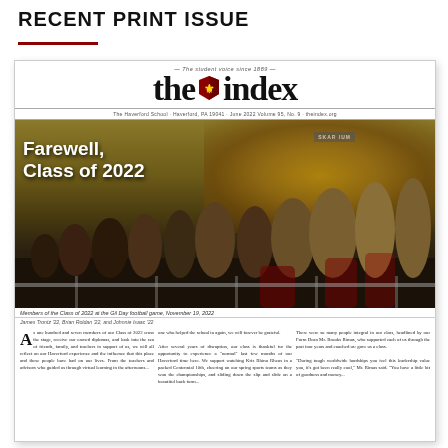RECENT PRINT ISSUE
[Figure (photo): Front page of 'the index' student newspaper, The Haverford School, June 2022, Volume 95 No. 9. Features masthead with shield logo, hero photo of students cheering at football game with headline 'Farewell, Class of 2022', and article text below.]
Members of the Class of 2022 at the Gil Day football game, November 19, 2022
James Trontz '22, Brian Roldan '22, and Johnnie Isaac '22
As one hundred and seven members of our Class of 2022 cross the stage, receive our earned diplomas, and look into the sea of friends, family, and teachers in support of us, we will all reflect on our Haverford experience and the influence that this place and these people have had on our lives. From the teachers and advisors who guided us through virtual learning in the afternoons...